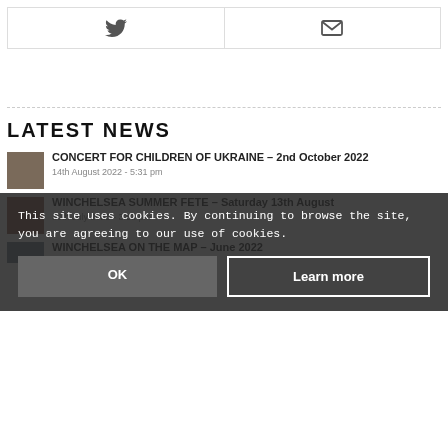[Figure (other): Share buttons row with Twitter and Email icons in bordered boxes]
LATEST NEWS
[Figure (photo): Thumbnail image for concert article]
CONCERT FOR CHILDREN OF UKRAINE – 2nd October 2022
14th August 2022 - 5:31 pm
[Figure (photo): Thumbnail image for summer fete article]
WINCHELSEA SUMMER FETE – Saturday 13th August
30th July 2022 - 3:58 pm
[Figure (other): Cookie consent overlay with OK and Learn more buttons]
[Figure (photo): Thumbnail image for Winchelsea on the map article]
WINCHELSEA ON THE MAP – June 2022